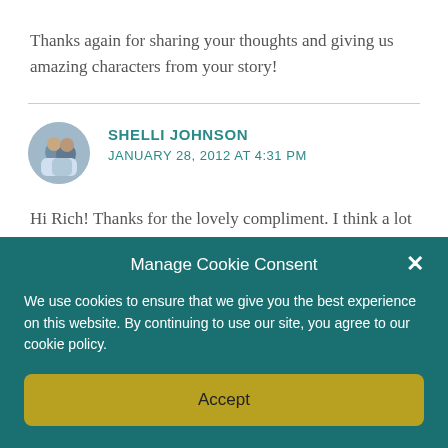Thanks again for sharing your thoughts and giving us amazing characters from your story!
SHELLI JOHNSON
JANUARY 28, 2012 AT 4:31 PM
Hi Rich! Thanks for the lovely compliment. I think a lot of
Manage Cookie Consent
We use cookies to ensure that we give you the best experience on this website. By continuing to use our site, you agree to our cookie policy.
Accept